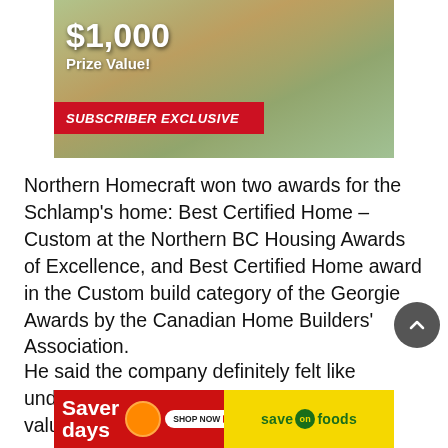[Figure (photo): Advertisement banner showing people toasting/celebrating at a table outdoors, with text '$1,000 Prize Value!' and a red banner reading 'SUBSCRIBER EXCLUSIVE']
Northern Homecraft won two awards for the Schlamp's home: Best Certified Home – Custom at the Northern BC Housing Awards of Excellence, and Best Certified Home award in the Custom build category of the Georgie Awards by the Canadian Home Builders' Association.
He said the company definitely felt like underdogs competing against more valuable homes in the southern
[Figure (photo): Save-On Foods 'Saver Days' advertisement banner with red left side showing 'Saver days' text, 'SHOP NOW' button, and yellow right side showing 'save on foods' logo]